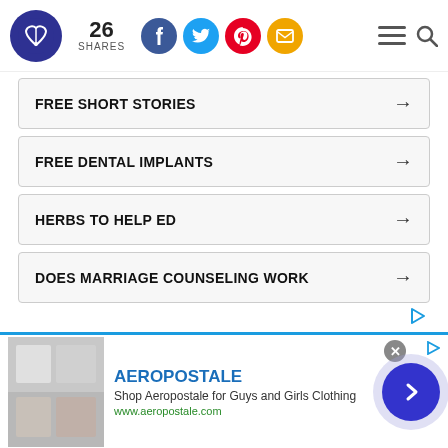26 SHARES — social share header with Facebook, Twitter, Pinterest, Email buttons
FREE SHORT STORIES →
FREE DENTAL IMPLANTS →
HERBS TO HELP ED →
DOES MARRIAGE COUNSELING WORK →
What sort of pictures do you paint in your mind's eye? Probably not very pretty. These
[Figure (screenshot): Aeropostale advertisement banner at bottom: Shop Aeropostale for Guys and Girls Clothing, www.aeropostale.com, with clothing images and navigation arrow button]